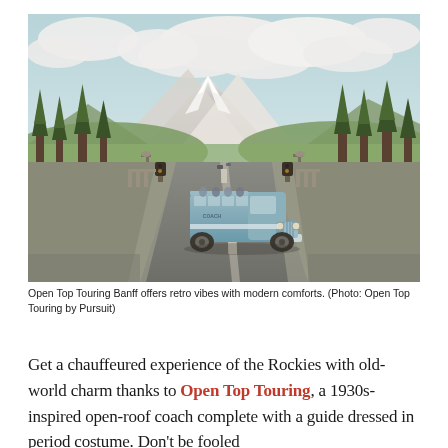[Figure (photo): A vintage 1930s-style open-top blue touring coach bus driving on a wide road through Banff, Canada, with snow-capped Rocky Mountains in the background, evergreen trees on both sides, and a partly cloudy sky.]
Open Top Touring Banff offers retro vibes with modern comforts. (Photo: Open Top Touring by Pursuit)
Get a chauffeured experience of the Rockies with old-world charm thanks to Open Top Touring, a 1930s-inspired open-roof coach complete with a guide dressed in period costume. Don't be fooled